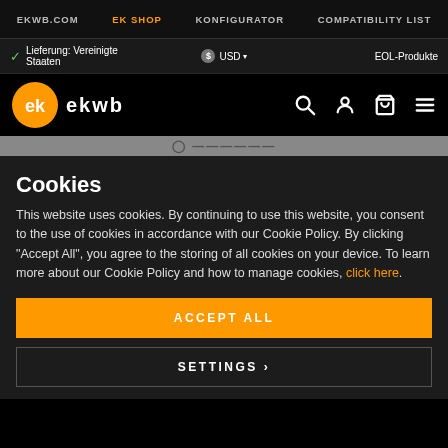EKWB.COM | EK SHOP | KONFIGURATOR | COMPATIBILITY LIST
✓ Lieferung: Vereinigte Staaten  $ USD  EOL-Produkte
[Figure (logo): EKWB logo: orange circle with stylized arrow/e icon, 'ekwb' text wordmark, plus search, user, cart, and menu icons on right]
Cookies
This website uses cookies. By continuing to use this website, you consent to the use of cookies in accordance with our Cookie Policy. By clicking "Accept All", you agree to the storing of all cookies on your device. To learn more about our Cookie Policy and how to manage cookies, click here.
ACCEPT ALL
SETTINGS >